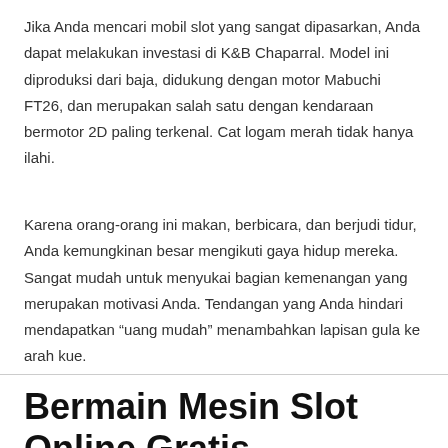Jika Anda mencari mobil slot yang sangat dipasarkan, Anda dapat melakukan investasi di K&B Chaparral. Model ini diproduksi dari baja, didukung dengan motor Mabuchi FT26, dan merupakan salah satu dengan kendaraan bermotor 2D paling terkenal. Cat logam merah tidak hanya ilahi.
Karena orang-orang ini makan, berbicara, dan berjudi tidur, Anda kemungkinan besar mengikuti gaya hidup mereka. Sangat mudah untuk menyukai bagian kemenangan yang merupakan motivasi Anda. Tendangan yang Anda hindari mendapatkan “uang mudah” menambahkan lapisan gula ke arah kue.
Bermain Mesin Slot Online Gratis – Permainan Slot Online Gratis